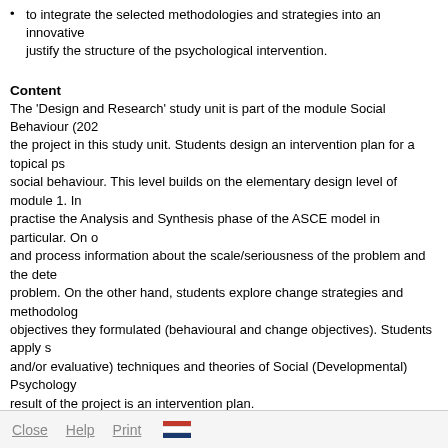to integrate the selected methodologies and strategies into an innovative justify the structure of the psychological intervention.
Content
The 'Design and Research' study unit is part of the module Social Behaviour (202 the project in this study unit. Students design an intervention plan for a topical ps social behaviour. This level builds on the elementary design level of module 1. In practise the Analysis and Synthesis phase of the ASCE model in particular. On o and process information about the scale/seriousness of the problem and the dete problem. On the other hand, students explore change strategies and methodolog objectives they formulated (behavioural and change objectives). Students apply s and/or evaluative) techniques and theories of Social (Developmental) Psychology result of the project is an intervention plan.
Module description
This study unit is part of the module Social Behaviour (202000325). A module is c and students take it as such.
Module
Module 2
Participating study
Bachelor Psychology
Close   Help   Print